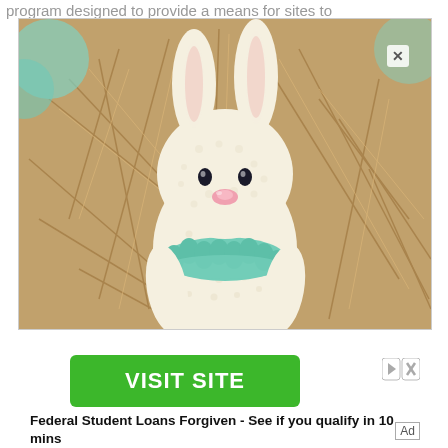program designed to provide a means for sites to
[Figure (photo): A crocheted white amigurumi bunny toy with a teal ruffled collar, sitting in a basket of brown raffia straw. The bunny has black button eyes and a pink nose.]
VISIT SITE
Federal Student Loans Forgiven - See if you qualify in 10 mins
Ad